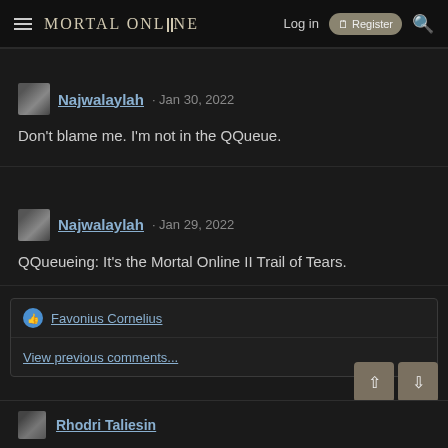MORTAL ONLINE II — Log in | Register
Najwalaylah · Jan 30, 2022
Don't blame me. I'm not in the QQueue.
Najwalaylah · Jan 29, 2022
QQueueing: It's the Mortal Online II Trail of Tears.
Favonius Cornelius
View previous comments...
Rhodri Taliesin